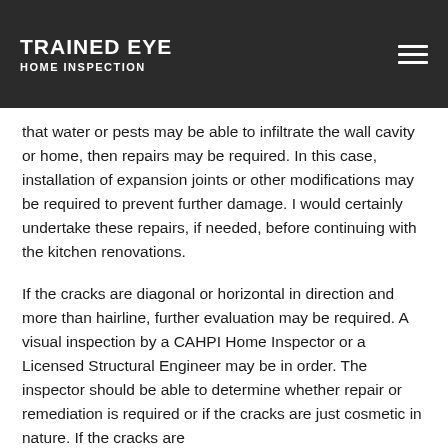TRAINED EYE HOME INSPECTION
that water or pests may be able to infiltrate the wall cavity or home, then repairs may be required. In this case, installation of expansion joints or other modifications may be required to prevent further damage. I would certainly undertake these repairs, if needed, before continuing with the kitchen renovations.
If the cracks are diagonal or horizontal in direction and more than hairline, further evaluation may be required. A visual inspection by a CAHPI Home Inspector or a Licensed Structural Engineer may be in order. The inspector should be able to determine whether repair or remediation is required or if the cracks are just cosmetic in nature. If the cracks are